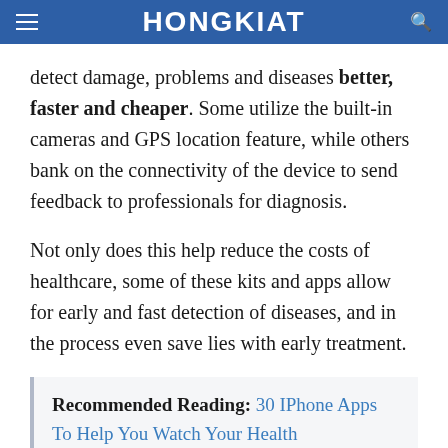HONGKIAT
detect damage, problems and diseases better, faster and cheaper. Some utilize the built-in cameras and GPS location feature, while others bank on the connectivity of the device to send feedback to professionals for diagnosis.
Not only does this help reduce the costs of healthcare, some of these kits and apps allow for early and fast detection of diseases, and in the process even save lies with early treatment.
Recommended Reading: 30 IPhone Apps To Help You Watch Your Health